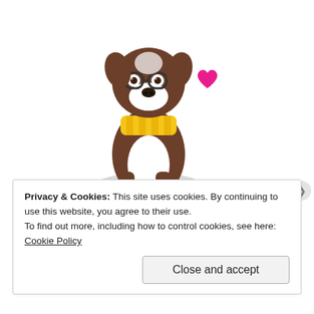[Figure (illustration): Simon Says Stamp Wednesday Challenge Blog logo: a cartoon Boston Terrier wearing glasses and a yellow/gold striped scarf, sitting on a gray oval, with a pink heart to the right. Below the dog is a purple/magenta ribbon banner reading 'SimonSaysStamp.com Wednesday Challenge BLOG', and beneath that an orange ribbon banner reading 'A NEW CHALLENGE EVERY WEDNESDAY!' in white text.]
Privacy & Cookies: This site uses cookies. By continuing to use this website, you agree to their use.
To find out more, including how to control cookies, see here: Cookie Policy
Close and accept